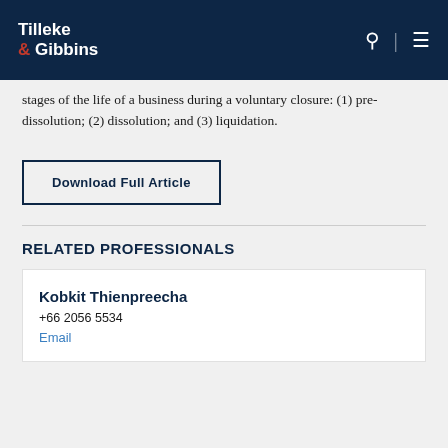Tilleke & Gibbins
stages of the life of a business during a voluntary closure: (1) pre-dissolution; (2) dissolution; and (3) liquidation.
Download Full Article
RELATED PROFESSIONALS
Kobkit Thienpreecha
+66 2056 5534
Email